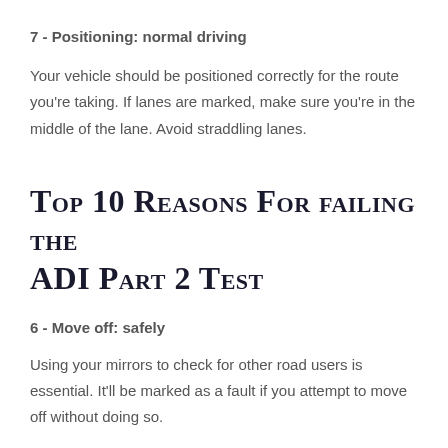7 - Positioning: normal driving
Your vehicle should be positioned correctly for the route you're taking. If lanes are marked, make sure you're in the middle of the lane. Avoid straddling lanes.
Top 10 Reasons For failing the ADI Part 2 Test
6 - Move off: safely
Using your mirrors to check for other road users is essential. It'll be marked as a fault if you attempt to move off without doing so.